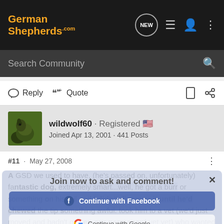GermanShepherds.com
Search Community
Reply  Quote
wildwolf60 · Registered
Joined Apr 13, 2001 · 441 Posts
#11 · May 27, 2008
A GSD we used to have, (he's passed on, unfortunately) fantastic dog, extremely smart...well, he got a burr or something on his tail and I didn't discover it until he'd chewed the tip something awful. took him to a vet (we'd just moved and hadn't gotten our permanent vet yet) who wanted to cut the tip off! I refused and had it cleaned. He wou...tion
[Figure (screenshot): Join now to ask and comment overlay with Continue with Facebook and Continue with Google options]
[Figure (screenshot): Advertisement banner with search box and Book Now button]